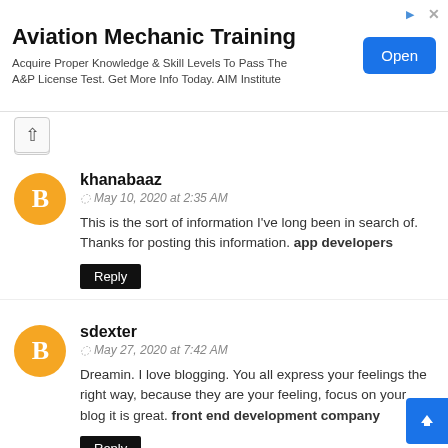[Figure (infographic): Advertisement banner: Aviation Mechanic Training. Text: Acquire Proper Knowledge & Skill Levels To Pass The A&P License Test. Get More Info Today. AIM Institute. Blue 'Open' button on the right.]
khanabaaz
May 10, 2020 at 2:35 AM
This is the sort of information I've long been in search of. Thanks for posting this information. app developers
Reply
sdexter
May 27, 2020 at 7:42 AM
Dreamin. I love blogging. You all express your feelings the right way, because they are your feeling, focus on your blog it is great. front end development company
Reply
william locas
May 29, 2020 at 11:02 AM